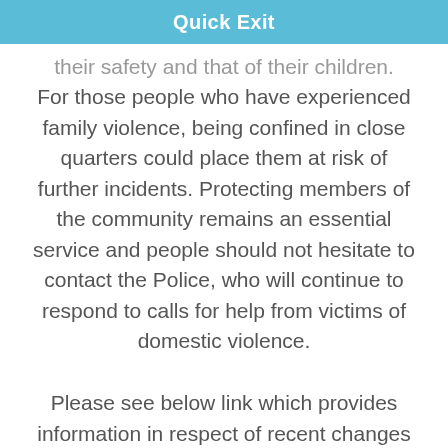Quick Exit
their safety and that of their children. For those people who have experienced family violence, being confined in close quarters could place them at risk of further incidents. Protecting members of the community remains an essential service and people should not hesitate to contact the Police, who will continue to respond to calls for help from victims of domestic violence.
Please see below link which provides information in respect of recent changes to law around Apprehended Domestic Violence Orders.